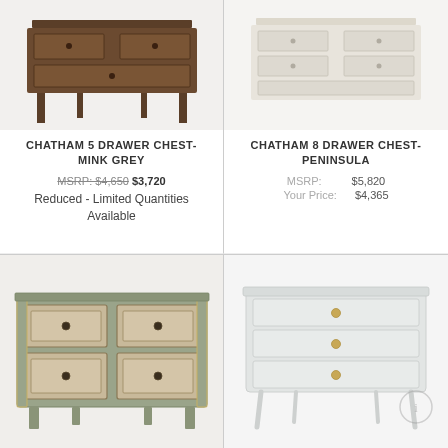[Figure (photo): Chatham 5 Drawer Chest in Mink Grey, dark wood furniture, partially visible top portion]
CHATHAM 5 DRAWER CHEST- MINK GREY
MSRP: $4,650 $3,720
Reduced - Limited Quantities Available
[Figure (photo): Chatham 8 Drawer Chest in Peninsula finish, light colored furniture, partially visible top portion]
CHATHAM 8 DRAWER CHEST- PENINSULA
MSRP: $5,820  Your Price: $4,365
[Figure (photo): Decorative chest of drawers with carved panel details, sage green and gold painted finish with fabric-look drawer inserts and round knobs]
[Figure (photo): Light grey three-drawer chest with tapered legs and gold round hardware pulls, modern classic style]